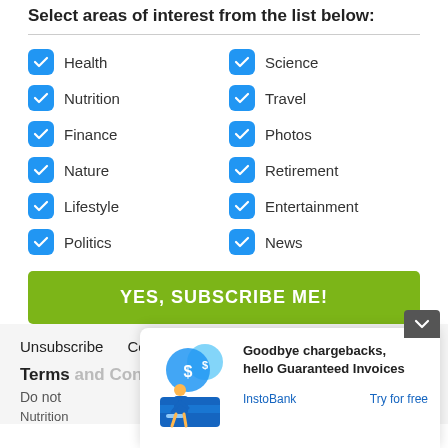Select areas of interest from the list below:
Health
Science
Nutrition
Travel
Finance
Photos
Nature
Retirement
Lifestyle
Entertainment
Politics
News
YES, SUBSCRIBE ME!
Unsubscribe   Contact   Privacy Policy
Terms and Conditions
Do not
Nutrition
[Figure (illustration): InstoBank ad overlay with illustration of person with coins and credit card. Text: Goodbye chargebacks, hello Guaranteed Invoices. InstoBank. Try for free.]